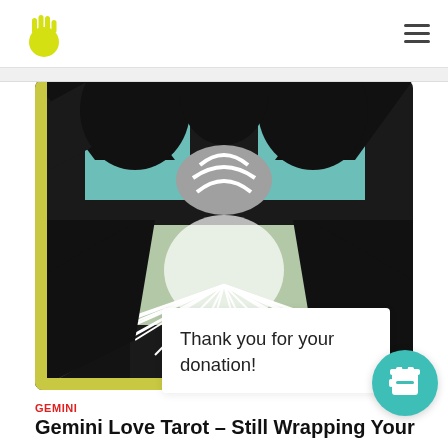Logo and navigation hamburger menu
[Figure (illustration): Abstract geometric artwork with black, white, teal/mint and light green panels forming a symmetric butterfly or mask-like pattern with radiating white lines on a dark background. The image is framed with a yellow-green border strip on the left and bottom.]
Thank you for your donation!
[Figure (logo): Teal circular button with a coffee cup / takeaway cup icon in white]
GEMINI
Gemini Love Tarot – Still Wrapping Your